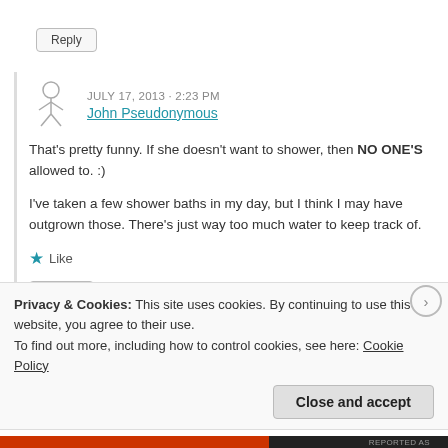Reply
JULY 17, 2013 - 2:23 PM
John Pseudonymous
That's pretty funny. If she doesn't want to shower, then NO ONE'S allowed to. :)
I've taken a few shower baths in my day, but I think I may have outgrown those. There's just way too much water to keep track of.
Like
Reply
Privacy & Cookies: This site uses cookies. By continuing to use this website, you agree to their use.
To find out more, including how to control cookies, see here: Cookie Policy
Close and accept